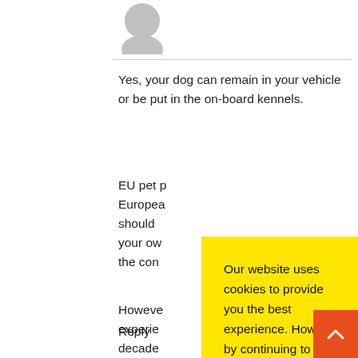[Figure (illustration): Gray avatar/profile icon circle at top]
Yes, your dog can remain in your vehicle or be put in the on-board kennels.
EU pet p... European... should... your ow... the con... (partially obscured by cookie overlay)
Howeve... experie... decade... betwee... applied... (partially obscured by cookie overlay)
Our website uses cookies to provide you the best experience. However, by continuing to use our website, you agree to our use of cookies.
Accept
Reply